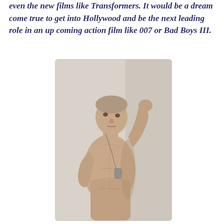even the new films like Transformers. It would be a dream come true to get into Hollywood and be the next leading role in an up coming action film like 007 or Bad Boys III.
[Figure (photo): A young shirtless male model with a shaved head, wearing a dog tag necklace, posing with one arm raised above his head against a light gray background.]